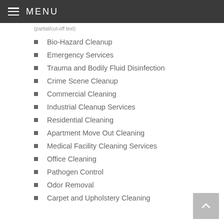MENU
(partial/cut-off text)
Bio-Hazard Cleanup
Emergency Services
Trauma and Bodily Fluid Disinfection
Crime Scene Cleanup
Commercial Cleaning
Industrial Cleanup Services
Residential Cleaning
Apartment Move Out Cleaning
Medical Facility Cleaning Services
Office Cleaning
Pathogen Control
Odor Removal
Carpet and Upholstery Cleaning